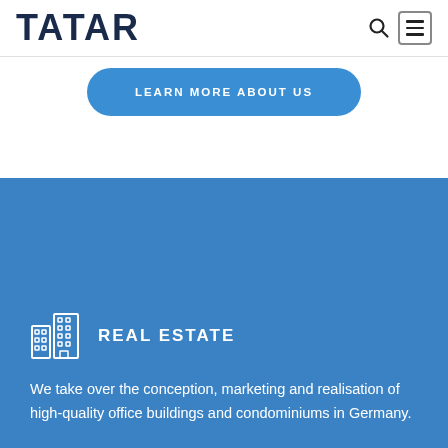TATAR
LEARN MORE ABOUT US
REAL ESTATE
We take over the conception, marketing and realisation of high-quality office buildings and condominiums in Germany.